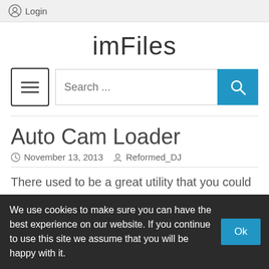Login
imFiles
[Figure (screenshot): Menu/hamburger button icon and search bar with blue search button]
Auto Cam Loader
November 13, 2013   Reformed_DJ
There used to be a great utility that you could add users to...and as they enter they turn their cam on...it would automatically open the cam....I miss that greatly...is there
We use cookies to make sure you can have the best experience on our website. If you continue to use this site we assume that you will be happy with it.